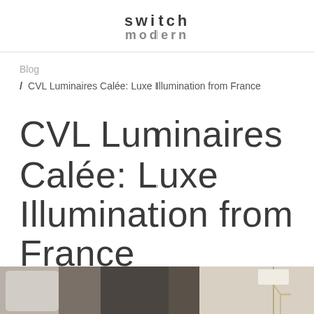switch modern
Blog / CVL Luminaires Calée: Luxe Illumination from France
CVL Luminaires Calée: Luxe Illumination from France
[Figure (photo): Bottom strip showing partial product photo of lamps/lighting fixtures on dark and light backgrounds]